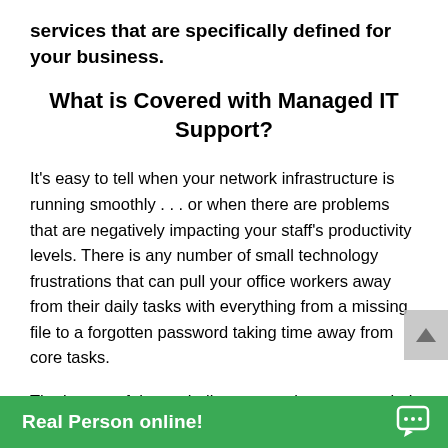services that are specifically defined for your business.
What is Covered with Managed IT Support?
It's easy to tell when your network infrastructure is running smoothly . . . or when there are problems that are negatively impacting your staff's productivity levels. There is any number of small technology frustrations that can pull your office workers away from their daily tasks with everything from a missing file to a forgotten password taking time away from core tasks.
The impact of these challenges can be compounded when you also need to pull an IT team member away from their responsibi...